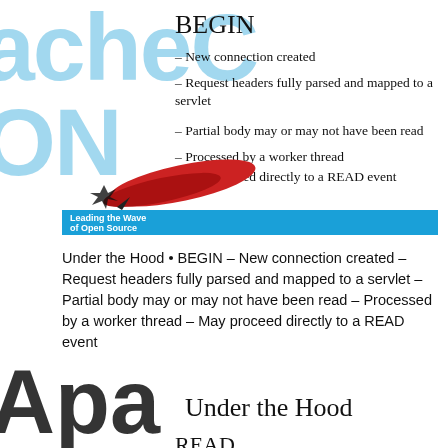BEGIN
– New connection created
– Request headers fully parsed and mapped to a servlet
– Partial body may or may not have been read
– Processed by a worker thread
– May proceed directly to a READ event
[Figure (logo): ApacheCon logo watermark and feather quill graphic with blue Leading the Wave of Open Source banner]
Under the Hood • BEGIN – New connection created – Request headers fully parsed and mapped to a servlet – Partial body may or may not have been read – Processed by a worker thread – May proceed directly to a READ event
Under the Hood
READ